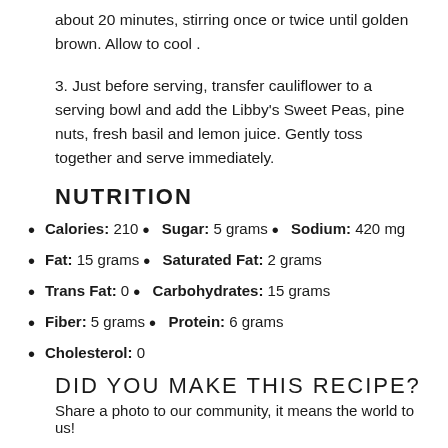about 20 minutes, stirring once or twice until golden brown. Allow to cool .
3. Just before serving, transfer cauliflower to a serving bowl and add the Libby's Sweet Peas, pine nuts, fresh basil and lemon juice. Gently toss together and serve immediately.
NUTRITION
Calories: 210 • Sugar: 5 grams • Sodium: 420 mg
Fat: 15 grams • Saturated Fat: 2 grams
Trans Fat: 0 • Carbohydrates: 15 grams
Fiber: 5 grams • Protein: 6 grams
Cholesterol: 0
DID YOU MAKE THIS RECIPE?
Share a photo to our community, it means the world to us!